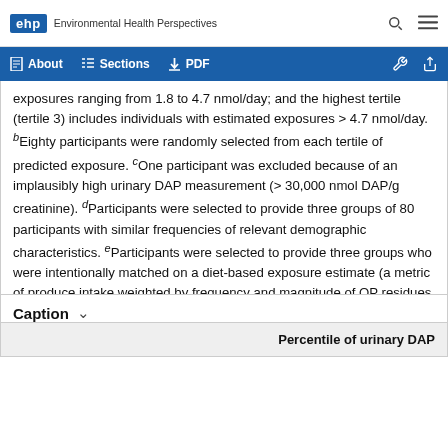ehp Environmental Health Perspectives
exposures ranging from 1.8 to 4.7 nmol/day; and the highest tertile (tertile 3) includes individuals with estimated exposures > 4.7 nmol/day. bEighty participants were randomly selected from each tertile of predicted exposure. cOne participant was excluded because of an implausibly high urinary DAP measurement (>30,000 nmol DAP/g creatinine). dParticipants were selected to provide three groups of 80 participants with similar frequencies of relevant demographic characteristics. eParticipants were selected to provide three groups who were intentionally matched on a diet-based exposure estimate (a metric of produce intake weighted by frequency and magnitude of OP residues detected in each food item). This is reflected in the similar values across the percentiles of exposure.
Caption
| Percentile of urinary DAP |
| --- |